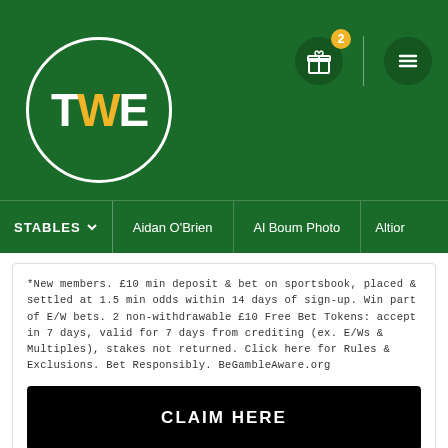[Figure (logo): TWE logo in a white circle on green background with navigation icons]
STABLES | Aidan O'Brien | Al Boum Photo | Altior
*New members. £10 min deposit & bet on sportsbook, placed & settled at 1.5 min odds within 14 days of sign-up. Win part of E/W bets. 2 non-withdrawable £10 Free Bet Tokens: accept in 7 days, valid for 7 days from crediting (ex. E/Ws & Multiples), stakes not returned. Click here for Rules & Exclusions. Bet Responsibly. BeGambleAware.org
CLAIM HERE
The Winners Enclosure uses cookies to help us provide, protect & improve our services in accordance with our Privacy & Cookie policy, which includes details of how you can change your cookie settings.
Accept & Close